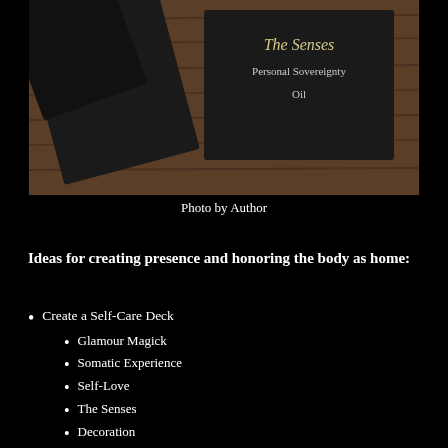[Figure (photo): Photo of dark/black cards on a wooden surface. One card reads 'The Senses Personal Sovereignty Oil', another partially visible card appears to say 'Write to Self'. These are handmade self-care deck cards.]
Photo by Author
Ideas for creating presence and honoring the body as home:
Create a Self-Care Deck
Glamour Magick
Somatic Experience
Self-Love
The Senses
Decoration
Engage in body reflection and acceptance through